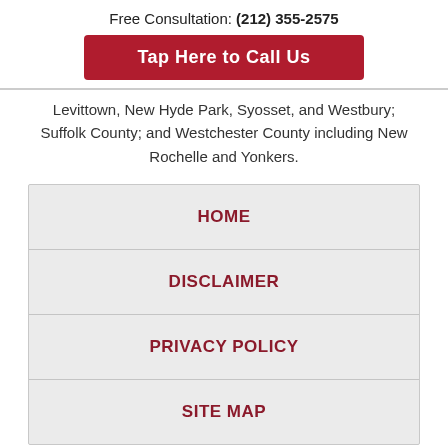Free Consultation: (212) 355-2575
Tap Here to Call Us
Levittown, New Hyde Park, Syosset, and Westbury; Suffolk County; and Westchester County including New Rochelle and Yonkers.
HOME
DISCLAIMER
PRIVACY POLICY
SITE MAP